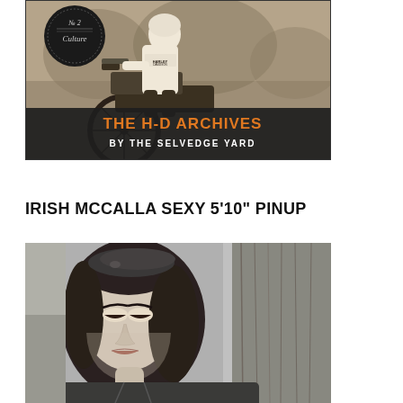[Figure (photo): Vintage black and white photo of a motorcycle racer on a Harley-Davidson bike with 'THE H-D ARCHIVES BY THE SELVEDGE YARD' text overlay. Badge in top left corner reads 'No 2 Culture'.]
IRISH MCCALLA SEXY 5'10" PINUP
[Figure (photo): Black and white pinup-style photograph of Irish McCalla, a 1950s actress/model, wearing a beret and leaning against a wooden post, looking downward with styled dark hair.]